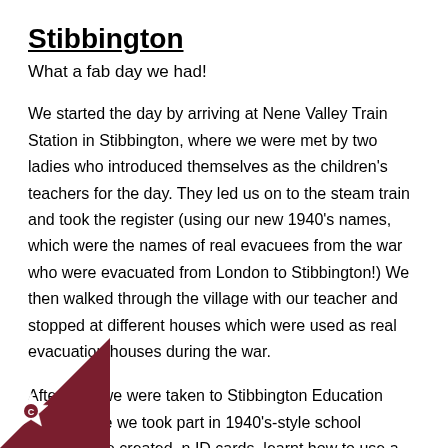Stibbington
What a fab day we had!
We started the day by arriving at Nene Valley Train Station in Stibbington, where we were met by two ladies who introduced themselves as the children's teachers for the day. They led us on to the steam train and took the register (using our new 1940's names, which were the names of real evacuees from the war who were evacuated from London to Stibbington!) We then walked through the village with our teacher and stopped at different houses which were used as real evacuation houses during the war.
After that, we were taken to Stibbington Education Centre, where we took part in 1940's-style school lessons. We created our ID cards, learnt how to use a gas mask, practised our